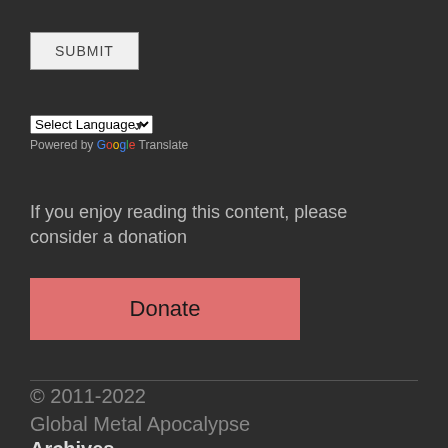SUBMIT
Select Language
Powered by Google Translate
If you enjoy reading this content, please consider a donation
Donate
© 2011-2022
Global Metal Apocalypse
Archives